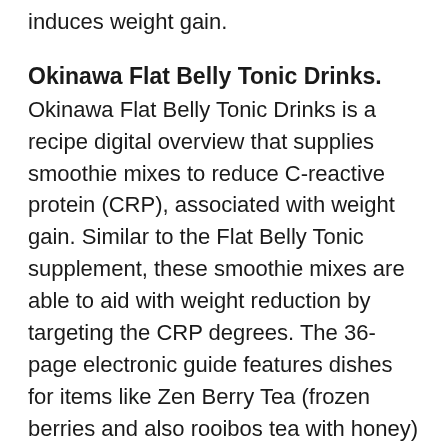induces weight gain.
Okinawa Flat Belly Tonic Drinks.
Okinawa Flat Belly Tonic Drinks is a recipe digital overview that supplies smoothie mixes to reduce C-reactive protein (CRP), associated with weight gain. Similar to the Flat Belly Tonic supplement, these smoothie mixes are able to aid with weight reduction by targeting the CRP degrees. The 36-page electronic guide features dishes for items like Zen Berry Tea (frozen berries and also rooibos tea with honey) and also a Wake-Up Smoothie (frozen berries with chia seeds, honey, tofu, almond milk, and a banana).
Flying Start Nutrition Plan.
The Okinawa Flat Belly Tonic Quick Start